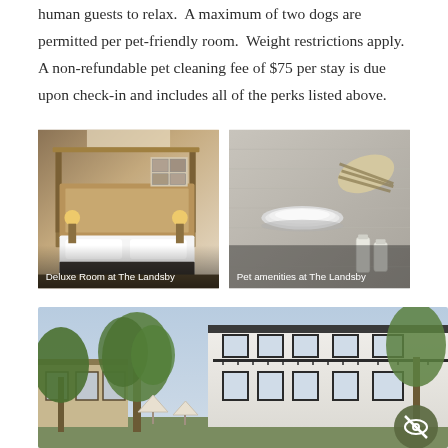human guests to relax.  A maximum of two dogs are permitted per pet-friendly room.  Weight restrictions apply.  A non-refundable pet cleaning fee of $75 per stay is due upon check-in and includes all of the perks listed above.
[Figure (photo): Hotel deluxe room with four-poster wooden bed frame, white bedding, warm lighting on bedside tables. Caption: Deluxe Room at The Landsby]
[Figure (photo): Pet amenities on grey fabric surface: silver bowl, striped toy, small bottles. Caption: Pet amenities at The Landsby]
[Figure (photo): Exterior of The Landsby hotel with white two-story building, black-framed windows, balconies, large trees with green leaves, patio umbrellas. Eye/privacy icon in bottom right corner.]